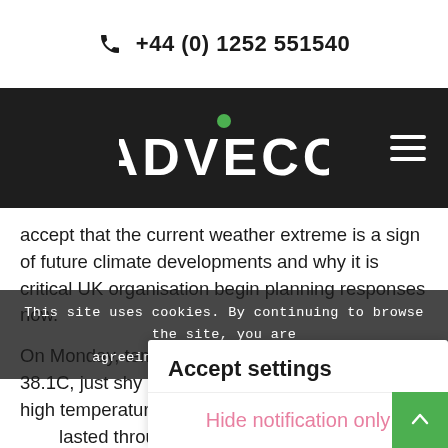+44 (0) 1252 551540
[Figure (logo): ADVECO logo in white text on dark background with green circle above the V]
accept that the current weather extreme is a sign of future climate developments and why it is critical UK organisation begin planning responses now.
This site uses cookies. By continuing to browse the site, you are agreeing to our use of cookies.
On Monday, temperatures in Suffolk peaked at 38.1C, just shy of the record 38. UK has seen high temperatures famed summer of 1976. It all lasted through The current h of a week, so is this really that big an issue? In
Accept settings
Hide notification only